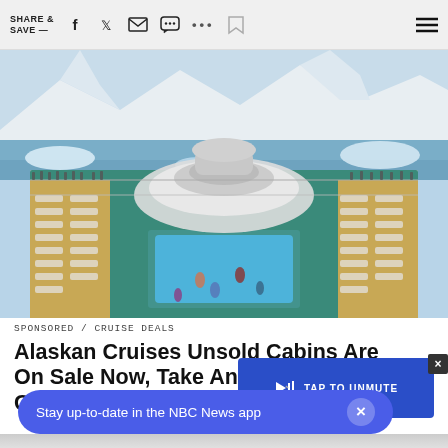SHARE & SAVE —
[Figure (photo): Aerial view of a large cruise ship deck with a pool, lounge chairs, and many passengers, surrounded by icy Alaskan waters and glaciers in the background.]
SPONSORED / CRUISE DEALS
Alaskan Cruises Unsold Cabins Are On Sale Now, Take An Alaskan Cruise R
[Figure (screenshot): TAP TO UNMUTE video overlay button in blue with speaker icon]
Stay up-to-date in the NBC News app